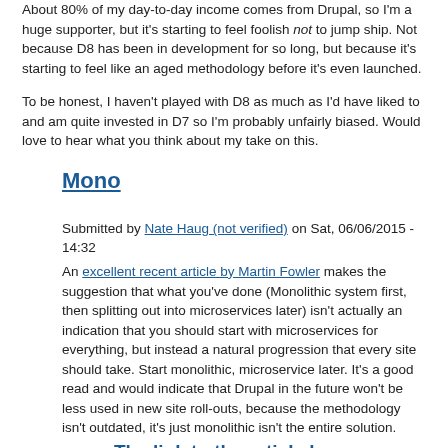About 80% of my day-to-day income comes from Drupal, so I'm a huge supporter, but it's starting to feel foolish not to jump ship. Not because D8 has been in development for so long, but because it's starting to feel like an aged methodology before it's even launched.
To be honest, I haven't played with D8 as much as I'd have liked to and am quite invested in D7 so I'm probably unfairly biased. Would love to hear what you think about my take on this.
Mono
Submitted by Nate Haug (not verified) on Sat, 06/06/2015 - 14:32
An excellent recent article by Martin Fowler makes the suggestion that what you've done (Monolithic system first, then splitting out into microservices later) isn't actually an indication that you should start with microservices for everything, but instead a natural progression that every site should take. Start monolithic, microservice later. It's a good read and would indicate that Drupal in the future won't be less used in new site roll-outs, because the methodology isn't outdated, it's just monolithic isn't the entire solution.
The link to the article by